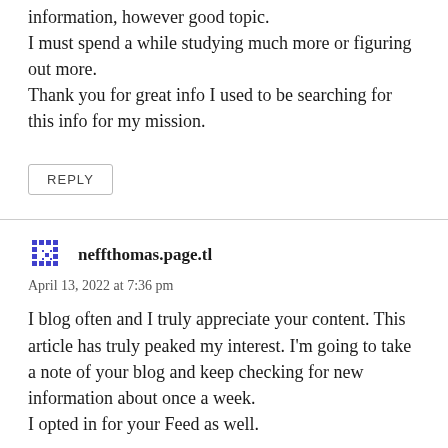information, however good topic.
I must spend a while studying much more or figuring out more.
Thank you for great info I used to be searching for this info for my mission.
REPLY
neffthomas.page.tl
April 13, 2022 at 7:36 pm
I blog often and I truly appreciate your content. This article has truly peaked my interest. I’m going to take a note of your blog and keep checking for new information about once a week.
I opted in for your Feed as well.